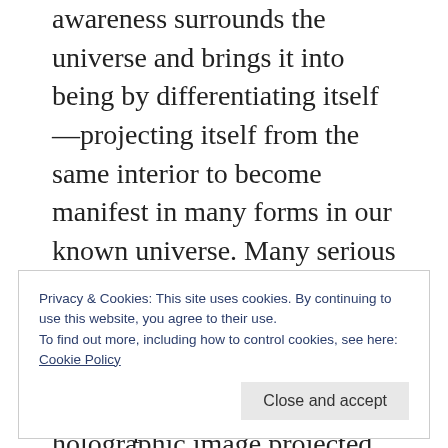awareness surrounds the universe and brings it into being by differentiating itself—projecting itself from the same interior to become manifest in many forms in our known universe. Many serious modern thinkers have developed the math and concepts around the notion that our world is quite similar to a holographic image projected upon the boundary of the universe from the focal point of the awareness at the core of
Privacy & Cookies: This site uses cookies. By continuing to use this website, you agree to their use.
To find out more, including how to control cookies, see here:
Cookie Policy
Close and accept
expressing itself as the world for the pure